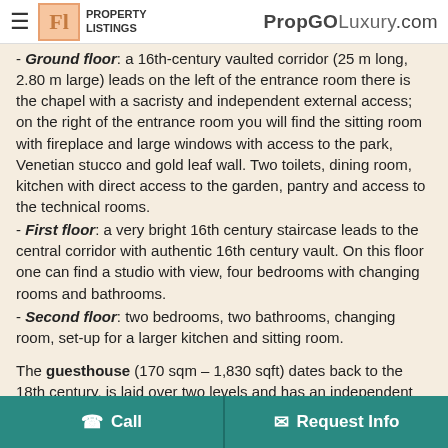PROPERTY LISTINGS | PropGOLuxury.com
- Ground floor: a 16th-century vaulted corridor (25 m long, 2.80 m large) leads on the left of the entrance room there is the chapel with a sacristy and independent external access; on the right of the entrance room you will find the sitting room with fireplace and large windows with access to the park, Venetian stucco and gold leaf wall. Two toilets, dining room, kitchen with direct access to the garden, pantry and access to the technical rooms.
- First floor: a very bright 16th century staircase leads to the central corridor with authentic 16th century vault. On this floor one can find a studio with view, four bedrooms with changing rooms and bathrooms.
- Second floor: two bedrooms, two bathrooms, changing room, set-up for a larger kitchen and sitting room.
The guesthouse (170 sqm – 1,830 sqft) dates back to the 18th century, is laid over two levels and has an independent entry with an 18th-century wooden oven. It is made up of entrance room, kitchen, living room, bathroom, sitting room, a bedroom, attic room,
Call | Request Info